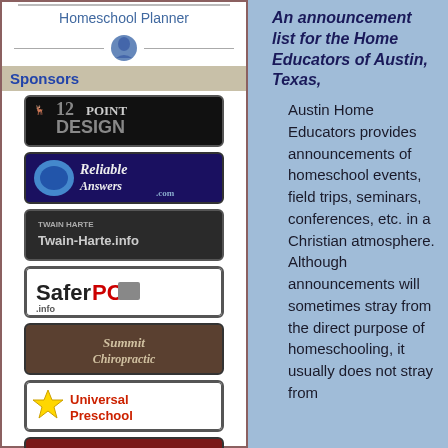[Figure (photo): Homeschool Planner book cover image showing a person, possibly a child or woman.]
Homeschool Planner
Sponsors
[Figure (logo): 12Point Design sponsor logo - black background with deer and text]
[Figure (logo): Reliable Answers .com sponsor logo - dark blue background]
[Figure (logo): Twain Harte.info sponsor logo - dark background]
[Figure (logo): SaferPC.info sponsor logo - white background with red text]
[Figure (logo): Summit Chiropractic sponsor logo - brown/tan background]
[Figure (logo): Universal Preschool sponsor logo - white background with star]
[Figure (logo): LocalHS sponsor logo - dark red background]
[Figure (logo): Kidjacked sponsor logo - red background]
An announcement list for the Home Educators of Austin, Texas,
Austin Home Educators provides announcements of homeschool events, field trips, seminars, conferences, etc. in a Christian atmosphere. Although announcements will sometimes stray from the direct purpose of homeschooling, it usually does not stray from